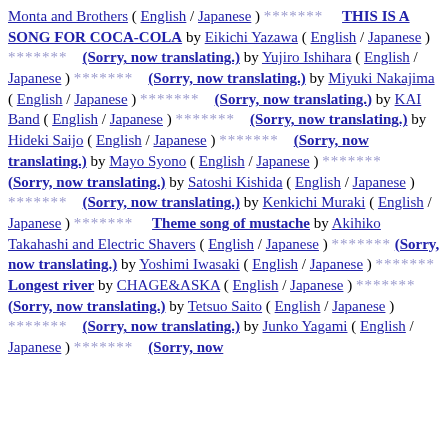Monta and Brothers ( English / Japanese ) ******* THIS IS A SONG FOR COCA-COLA by Eikichi Yazawa ( English / Japanese ) ******* (Sorry, now translating.) by Yujiro Ishihara ( English / Japanese ) ******* (Sorry, now translating.) by Miyuki Nakajima ( English / Japanese ) ******* (Sorry, now translating.) by KAI Band ( English / Japanese ) ******* (Sorry, now translating.) by Hideki Saijo ( English / Japanese ) ******* (Sorry, now translating.) by Mayo Syono ( English / Japanese ) ******* (Sorry, now translating.) by Satoshi Kishida ( English / Japanese ) ******* (Sorry, now translating.) by Kenkichi Muraki ( English / Japanese ) ******* Theme song of mustache by Akihiko Takahashi and Electric Shavers ( English / Japanese ) ******* (Sorry, now translating.) by Yoshimi Iwasaki ( English / Japanese ) ******* Longest river by CHAGE&ASKA ( English / Japanese ) ******* (Sorry, now translating.) by Tetsuo Saito ( English / Japanese ) ******* (Sorry, now translating.) by Junko Yagami ( English / Japanese ) ******* (Sorry, now